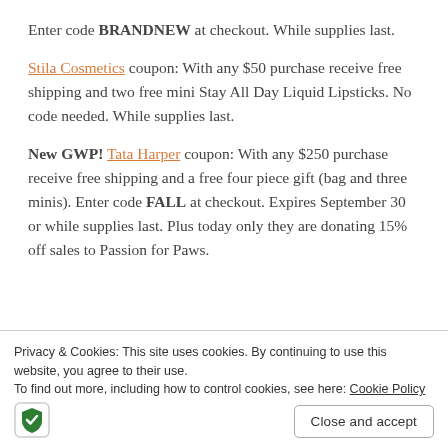Enter code BRANDNEW at checkout. While supplies last.
Stila Cosmetics coupon: With any $50 purchase receive free shipping and two free mini Stay All Day Liquid Lipsticks. No code needed. While supplies last.
New GWP! Tata Harper coupon: With any $250 purchase receive free shipping and a free four piece gift (bag and three minis). Enter code FALL at checkout. Expires September 30 or while supplies last. Plus today only they are donating 15% off sales to Passion for Paws.
Ulta Beauty offer: 21 Days of Beauty is going on now...
Privacy & Cookies: This site uses cookies. By continuing to use this website, you agree to their use. To find out more, including how to control cookies, see here: Cookie Policy
Close and accept
code needed. Valid today only while supplies last. There are